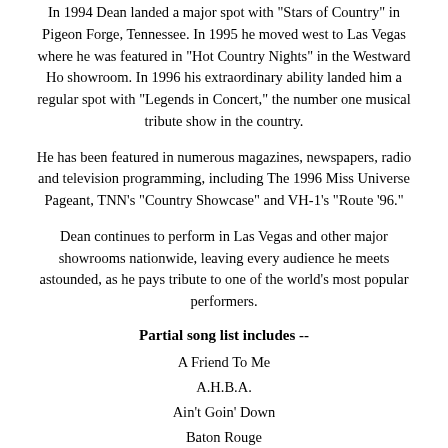In 1994 Dean landed a major spot with "Stars of Country" in Pigeon Forge, Tennessee. In 1995 he moved west to Las Vegas where he was featured in "Hot Country Nights" in the Westward Ho showroom. In 1996 his extraordinary ability landed him a regular spot with "Legends in Concert," the number one musical tribute show in the country.
He has been featured in numerous magazines, newspapers, radio and television programming, including The 1996 Miss Universe Pageant, TNN's "Country Showcase" and VH-1's "Route '96."
Dean continues to perform in Las Vegas and other major showrooms nationwide, leaving every audience he meets astounded, as he pays tribute to one of the world's most popular performers.
Partial song list includes --
A Friend To Me
A.H.B.A.
Ain't Goin' Down
Baton Rouge
Belleau Wood
Friends in Low Places
If Tomorrow Never Comes
In Another's Eyes
Learning To Live Again
Long Neck Bottle
Midnight Cinderella
Much Too Young
Papa Loved Mama